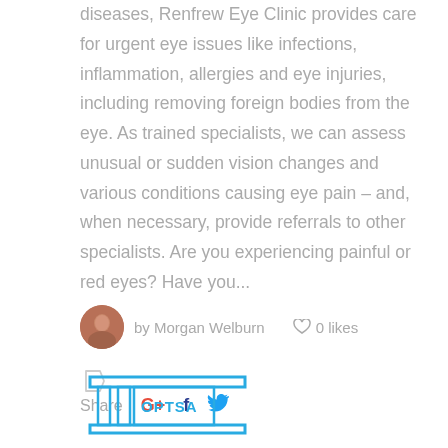diseases, Renfrew Eye Clinic provides care for urgent eye issues like infections, inflammation, allergies and eye injuries, including removing foreign bodies from the eye. As trained specialists, we can assess unusual or sudden vision changes and various conditions causing eye pain – and, when necessary, provide referrals to other specialists. Are you experiencing painful or red eyes? Have you...
by Morgan Welburn   0 likes
[Figure (illustration): Tag/label icon outline]
Share
[Figure (logo): OPTSA organization logo in blue outline style at bottom of page]